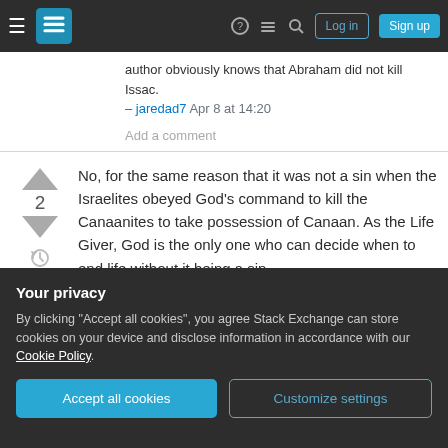Stack Exchange navigation bar with Log in and Sign up buttons
author obviously knows that Abraham did not kill Issac.
– jaredad7 Apr 8 at 14:20
Add a comment
No, for the same reason that it was not a sin when the Israelites obeyed God's command to kill the Canaanites to take possession of Canaan. As the Life Giver, God is the only one who can decide when to end life without it being a sin.
Your privacy
By clicking "Accept all cookies", you agree Stack Exchange can store cookies on your device and disclose information in accordance with our Cookie Policy.
Accept all cookies
Customize settings
was about to strike Isaac.